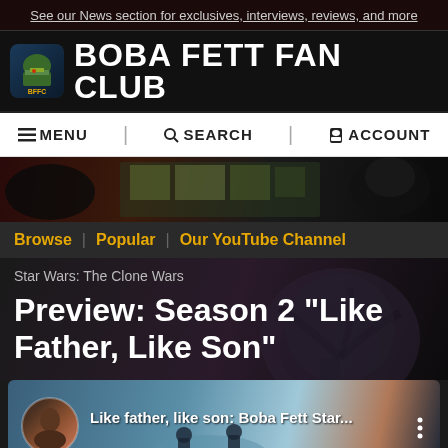See our News section for exclusives, interviews, reviews, and more
BOBA FETT FAN CLUB
≡ MENU   🔍 SEARCH   👤 ACCOUNT
[Figure (screenshot): Hero banner image showing dark Star Wars themed graphic]
Browse | Popular | Our YouTube Channel
Star Wars: The Clone Wars
Preview: Season 2 "Like Father, Like Son"
[Figure (screenshot): YouTube video thumbnail showing 'Like father, like son: Boba Fett Star...' with avatar and three-dot menu]